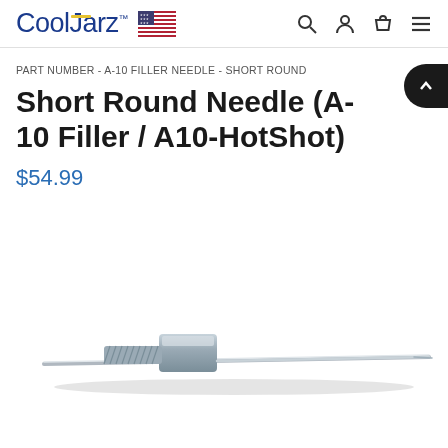CoolJarz™ 🇺🇸
PART NUMBER - A-10 FILLER NEEDLE - SHORT ROUND
Short Round Needle (A-10 Filler / A10-HotShot)
$54.99
[Figure (photo): A stainless steel short round needle with a hex nut fitting at one end and a long thin needle extending to the right, photographed on a white background with a slight shadow beneath.]